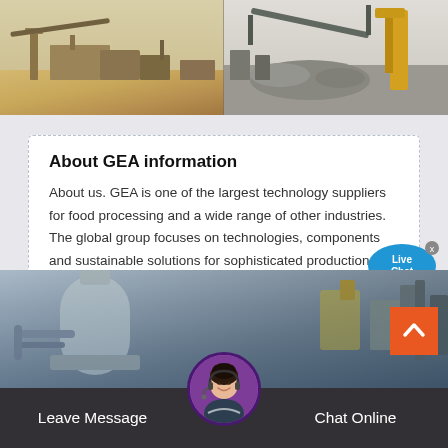[Figure (photo): Two industrial/mining site photos side by side at the top of the page — left showing sandy/dusty construction equipment, right showing grey rocky site with yellow machinery.]
About GEA information
About us. GEA is one of the largest technology suppliers for food processing and a wide range of other industries. The global group focuses on technologies, components and sustainable solutions for sophisticated production processes in diverse end-user markets. Read more.
[Figure (illustration): Live Chat speech bubble widget with blue balloon and 'Live Chat' label and an 'x' close button in top right.]
[Figure (photo): Bottom industrial/factory image showing machinery, pipes and industrial equipment in blue-tinted setting.]
Leave Message
[Figure (photo): Circular avatar of a female customer service agent wearing a headset microphone, with purple border.]
Chat Online